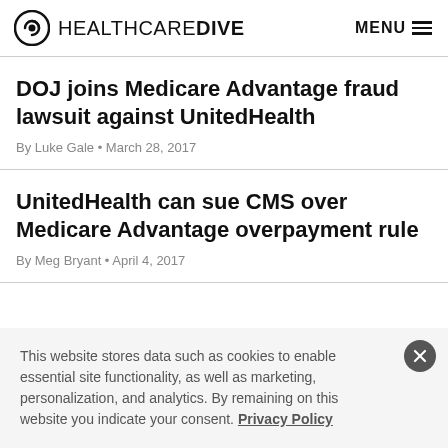HEALTHCARE DIVE — MENU
DOJ joins Medicare Advantage fraud lawsuit against UnitedHealth
By Luke Gale • March 28, 2017
UnitedHealth can sue CMS over Medicare Advantage overpayment rule
By Meg Bryant • April 4, 2017
This website stores data such as cookies to enable essential site functionality, as well as marketing, personalization, and analytics. By remaining on this website you indicate your consent. Privacy Policy